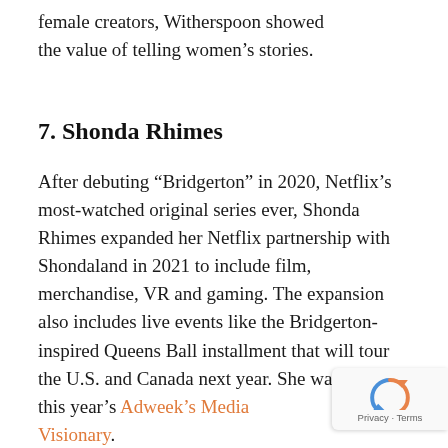female creators, Witherspoon showed the value of telling women's stories.
7. Shonda Rhimes
After debuting “Bridgerton” in 2020, Netflix’s most-watched original series ever, Shonda Rhimes expanded her Netflix partnership with Shondaland in 2021 to include film, merchandise, VR and gaming. The expansion also includes live events like the Bridgerton-inspired Queens Ball installment that will tour the U.S. and Canada next year. She was named this year’s Adweek’s Media Visionary.